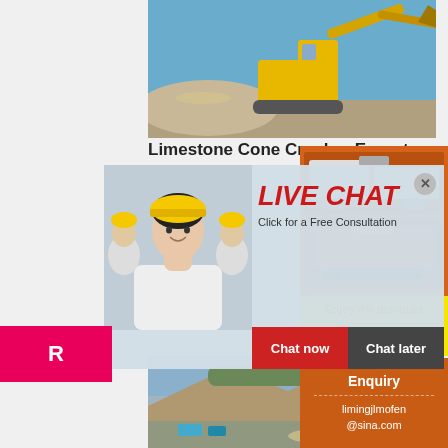Portable
[Figure (photo): Yellow excavator and crusher equipment at a limestone quarry site]
Limestone Cone Crusher Exporte
[Figure (photo): Live chat popup with woman in hard hat and three workers behind her, showing LIVE CHAT, Click for a Free Consultation, Chat now and Chat later buttons]
[Figure (infographic): Orange sidebar with portable crusher machine images, Enjoy 3% discount, Click to Chat bar, and Enquiry contact section]
[Figure (photo): Quarry or open-pit mining site with rocky terrain and equipment]